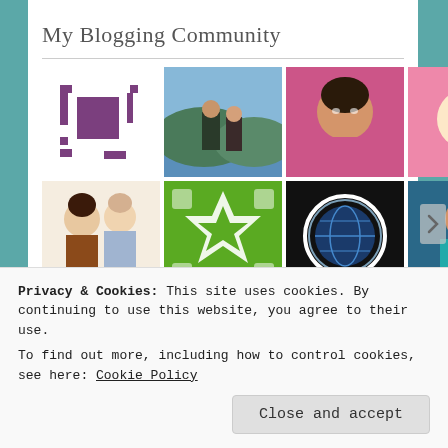My Blogging Community
[Figure (photo): Grid of blogger avatar/profile images - 10 avatars in two rows: purple bracket logo, two people outdoors, woman selfie, anime girl, quilt pattern, woman in pink hat (row 1); illustrated women, green pattern, globe icon, woman at event (row 2)]
Looking for something ?
Privacy & Cookies: This site uses cookies. By continuing to use this website, you agree to their use.
To find out more, including how to control cookies, see here: Cookie Policy
Close and accept